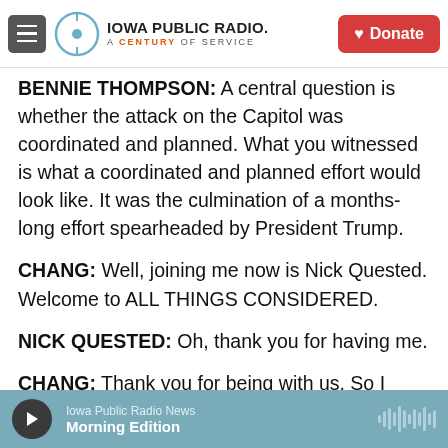Iowa Public Radio — A Century of Service | Donate
BENNIE THOMPSON: A central question is whether the attack on the Capitol was coordinated and planned. What you witnessed is what a coordinated and planned effort would look like. It was the culmination of a months-long effort spearheaded by President Trump.
CHANG: Well, joining me now is Nick Quested. Welcome to ALL THINGS CONSIDERED.
NICK QUESTED: Oh, thank you for having me.
CHANG: Thank you for being with us. So I want to go back to January 5, 2021. You testified yesterday
Iowa Public Radio News — Morning Edition